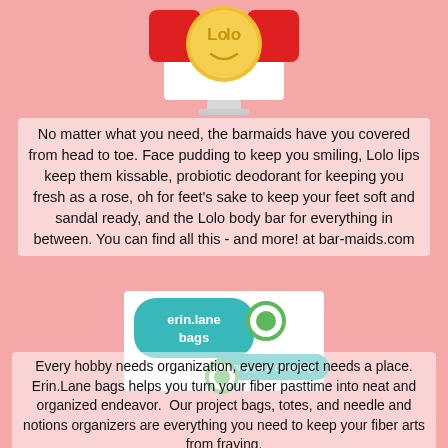[Figure (logo): Bar-maids logo with red squares and gold coin showing 'Lo' text]
No matter what you need, the barmaids have you covered from head to toe. Face pudding to keep you smiling, Lolo lips keep them kissable, probiotic deodorant for keeping you fresh as a rose, oh for feet's sake to keep your feet soft and sandal ready, and the Lolo body bar for everything in between. You can find all this - and more! at bar-maids.com
[Figure (logo): Erin Lane Bags logo with teal rounded rectangle, green circles, and tagline 'carry your creativity']
Every hobby needs organization, every project needs a place. Erin.Lane bags helps you turn your fiber pasttime into neat and organized endeavor.  Our project bags, totes, and needle and notions organizers are everything you need to keep your fiber arts from fraying.